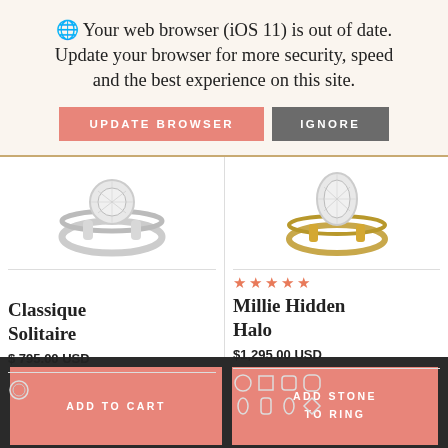🌐 Your web browser (iOS 11) is out of date. Update your browser for more security, speed and the best experience on this site.
UPDATE BROWSER
IGNORE
[Figure (photo): Silver solitaire diamond engagement ring (Classique Solitaire)]
[Figure (photo): Yellow gold hidden halo diamond engagement ring (Millie Hidden Halo)]
★★★★★
Classique Solitaire
$ 795.00 USD
Millie Hidden Halo
$1,295.00 USD
ADD TO CART
ADD STONE TO RING